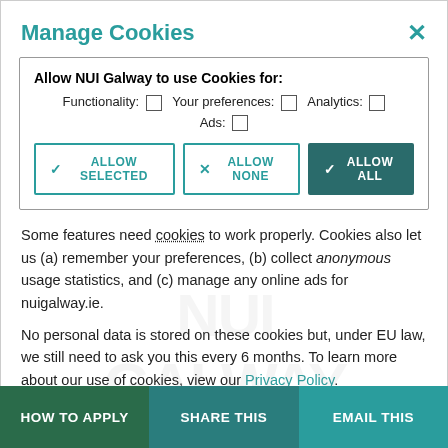Manage Cookies
[Figure (screenshot): Cookie consent dialog with checkboxes for Functionality, Your preferences, Analytics, Ads, and three buttons: Allow Selected, Allow None, Allow All]
Some features need cookies to work properly. Cookies also let us (a) remember your preferences, (b) collect anonymous usage statistics, and (c) manage any online ads for nuigalway.ie.
No personal data is stored on these cookies but, under EU law, we still need to ask you this every 6 months. To learn more about our use of cookies, view our Privacy Policy.
Postgraduate
HOW TO APPLY
SHARE THIS
EMAIL THIS